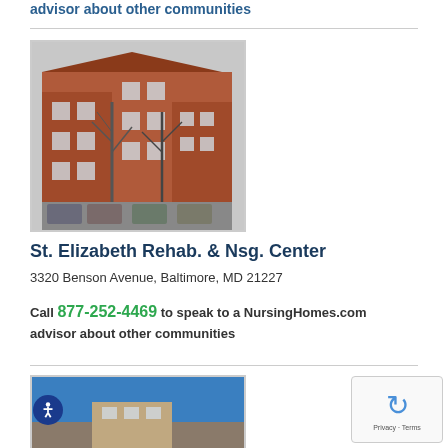advisor about other communities
[Figure (photo): Exterior photo of St. Elizabeth Rehab. & Nsg. Center, a multi-story red brick building with bare trees in front and cars parked in the foreground, taken in winter.]
St. Elizabeth Rehab. & Nsg. Center
3320 Benson Avenue, Baltimore, MD 21227
Call 877-252-4469 to speak to a NursingHomes.com advisor about other communities
[Figure (photo): Partial exterior photo of a building with a blue sky background, bottom of page, partially visible.]